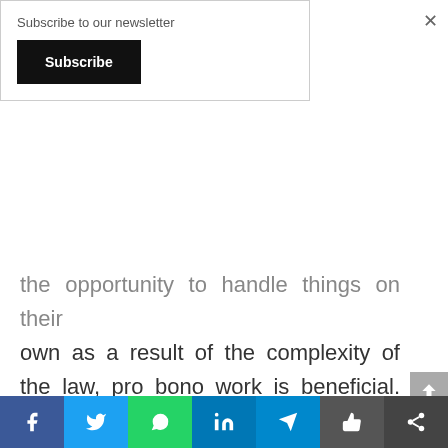Subscribe to our newsletter
Subscribe
the opportunity to handle things on their own as a result of the complexity of the law, pro bono work is beneficial. Not only does it feel good and give a sense of satisfaction, it also gives experience and creates an avenue for exercising and developing skills and techniques that would later be put to use in matters of greater substance. As such, pro bono work confers an immediate
Social share bar: Facebook, Twitter, WhatsApp, LinkedIn, Telegram, Like, Share